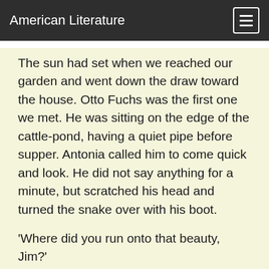American Literature
The sun had set when we reached our garden and went down the draw toward the house. Otto Fuchs was the first one we met. He was sitting on the edge of the cattle-pond, having a quiet pipe before supper. Antonia called him to come quick and look. He did not say anything for a minute, but scratched his head and turned the snake over with his boot.
'Where did you run onto that beauty, Jim?'
'Up at the dog-town,' I answered laconically.
'Kill him yourself? How come you to have a weepon?'